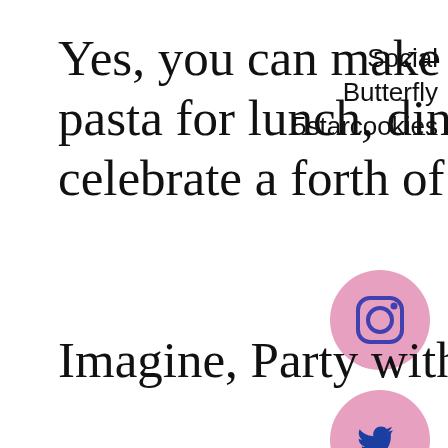Yes, you can make easy oven baked pasta for lunch, dinner or to celebrate a forth of July.
[Figure (infographic): Social sharing sidebar label reading 'Social Butterfly 5starcookies' with three pink circular social media icons: Instagram, Twitter, Pinterest]
Imagine, Party with baked pasta!
And all it takes is 30 minut
This website uses cookies to improve your experience. We'll assume you're ok with this, but you can opt-out if
[Figure (infographic): Bottom social sharing bar with Twitter, Facebook, Email, WhatsApp, SMS, and More buttons]